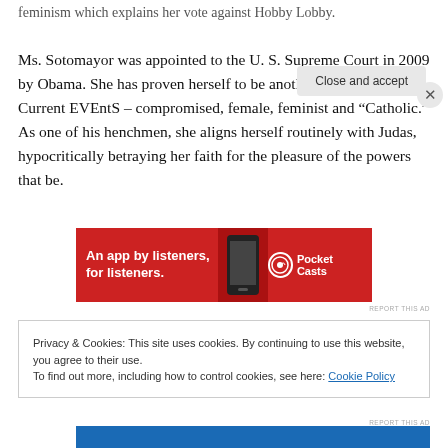feminism which explains her vote against Hobby Lobby.

Ms. Sotomayor was appointed to the U. S. Supreme Court in 2009 by Obama. She has proven herself to be another of Obama's Current EVEntS – compromised, female, feminist and “Catholic.” As one of his henchmen, she aligns herself routinely with Judas, hypocritically betraying her faith for the pleasure of the powers that be.
[Figure (other): Pocket Casts advertisement banner: red background with text 'An app by listeners, for listeners.' and Pocket Casts logo]
Privacy & Cookies: This site uses cookies. By continuing to use this website, you agree to their use.
To find out more, including how to control cookies, see here: Cookie Policy